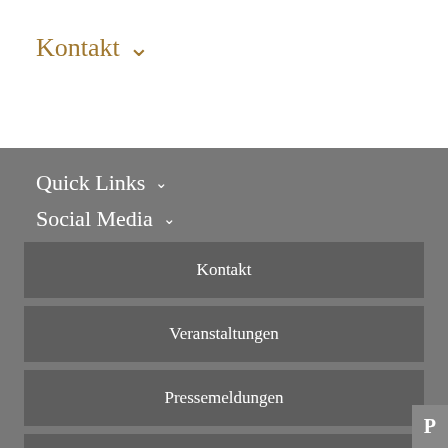Kontakt ∨
Quick Links ∨
Social Media ∨
Kontakt
Veranstaltungen
Pressemeldungen
Studiengesuche
RSS